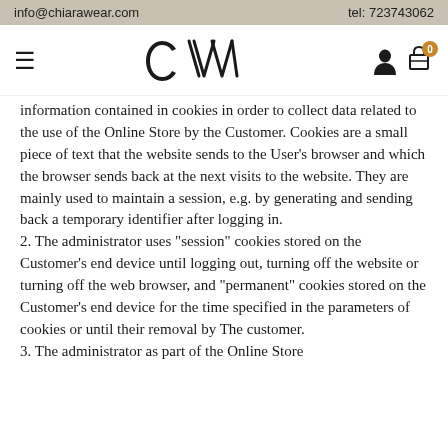info@chiarawear.com    tel: 723743062
[Figure (logo): CW brand logo with hamburger menu icon on the left and user/cart icons on the right]
information contained in cookies in order to collect data related to the use of the Online Store by the Customer. Cookies are a small piece of text that the website sends to the User's browser and which the browser sends back at the next visits to the website. They are mainly used to maintain a session, e.g. by generating and sending back a temporary identifier after logging in. 2. The administrator uses "session" cookies stored on the Customer's end device until logging out, turning off the website or turning off the web browser, and "permanent" cookies stored on the Customer's end device for the time specified in the parameters of cookies or until their removal by The customer. 3. The administrator as part of the Online Store